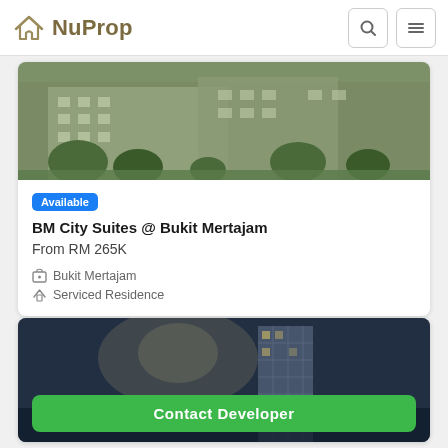NuProp
[Figure (photo): Exterior photo of BM City Suites building with trees and green landscaping in front]
Available
BM City Suites @ Bukit Mertajam
From RM 265K
Bukit Mertajam
Serviced Residence
[Figure (photo): Evening/night exterior photo of a tall modern residential building against dramatic sky]
Contact Developer